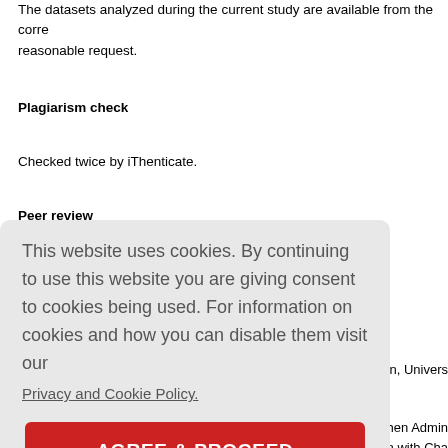The datasets analyzed during the current study are available from the corresponding author on reasonable request.
Plagiarism check
Checked twice by iThenticate.
Peer review
Externally peer reviewed.
Open peer reviewers
...non, Univers...
...When Admin...
...ion with Cha...
[Figure (screenshot): Cookie consent overlay popup with text: 'This website uses cookies. By continuing to use this website you are giving consent to cookies being used. For information on cookies and how you can disable them visit our Privacy and Cookie Policy.' and an 'AGREE & PROCEED' button in red.]